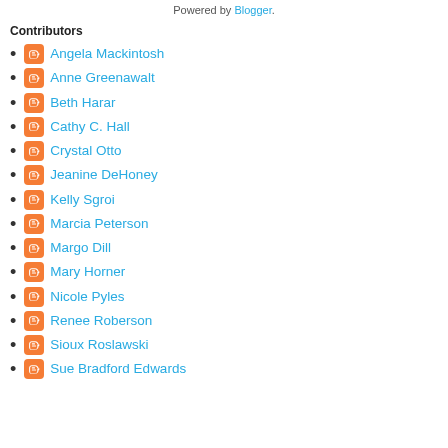Powered by Blogger.
Contributors
Angela Mackintosh
Anne Greenawalt
Beth Harar
Cathy C. Hall
Crystal Otto
Jeanine DeHoney
Kelly Sgroi
Marcia Peterson
Margo Dill
Mary Horner
Nicole Pyles
Renee Roberson
Sioux Roslawski
Sue Bradford Edwards